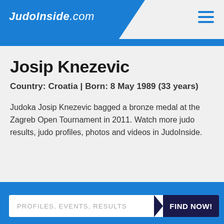JudoInside.com
Josip Knezevic
Country: Croatia | Born: 8 May 1989 (33 years)
Judoka Josip Knezevic bagged a bronze medal at the Zagreb Open Tournament in 2011. Watch more judo results, judo profiles, photos and videos in JudoInside.
PROFILES, EVENTS, RESULTS   FIND NOW!